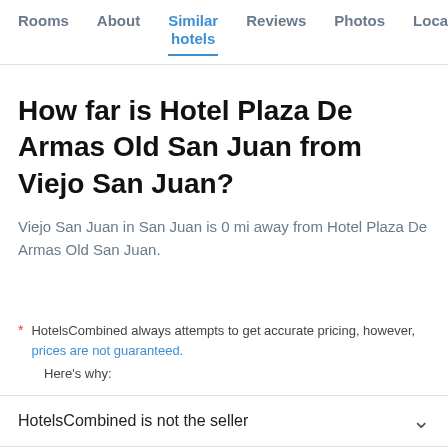Rooms | About | Similar hotels | Reviews | Photos | Loca…
How far is Hotel Plaza De Armas Old San Juan from Viejo San Juan?
Viejo San Juan in San Juan is 0 mi away from Hotel Plaza De Armas Old San Juan.
* HotelsCombined always attempts to get accurate pricing, however, prices are not guaranteed.
Here's why:
HotelsCombined is not the seller
We aggregate tons of data for you